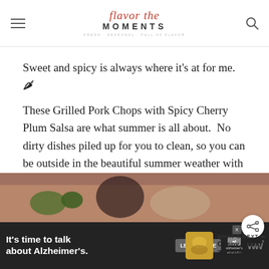Flavor the Moments — Fresh, Seasonal, Full of Flavor
Sweet and spicy is always where it's at for me. 🌶
These Grilled Pork Chops with Spicy Cherry Plum Salsa are what summer is all about.  No dirty dishes piled up for you to clean, so you can be outside in the beautiful summer weather with a delicious glass of red.
Need I say more? 🌶
[Figure (photo): Bottom strip of a food photo, partially visible, with colors suggesting a dish with greens and dark elements]
[Figure (infographic): Alzheimer's Association advertisement banner: 'It's time to talk about Alzheimer's.' with Learn More button, AL logo, and WW logo]